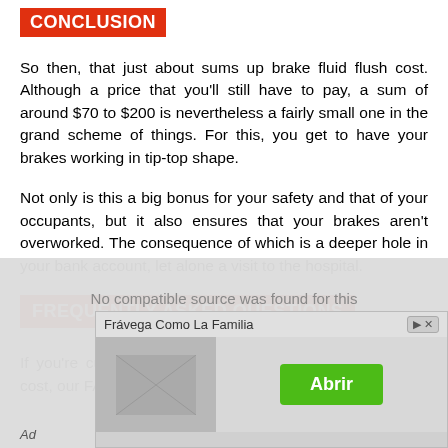CONCLUSION
So then, that just about sums up brake fluid flush cost. Although a price that you'll still have to pay, a sum of around $70 to $200 is nevertheless a fairly small one in the grand scheme of things. For this, you get to have your brakes working in tip-top shape.
Not only is this a big bonus for your safety and that of your occupants, but it also ensures that your brakes aren't overworked. The consequence of which is a deeper hole in your bank account, let alone a visit to the hospital.
FREQUENTLY ASKED QUESTIONS
If you're curious to learn more about a brake fluid flush cost, our FAQs here might help.
[Figure (other): Advertisement overlay showing 'Frávega Como La Familia' with an 'Abrir' green button and 'Ad' label]